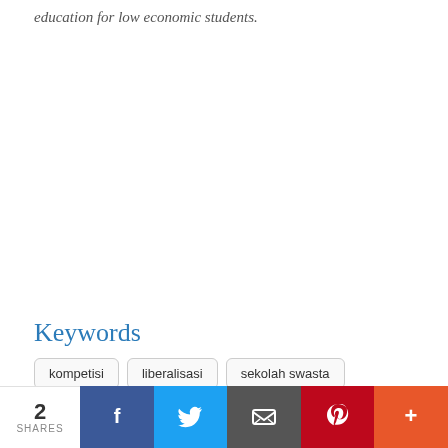education for low economic students.
Keywords
kompetisi
liberalisasi
sekolah swasta
2 SHARES | Facebook | Twitter | Email | Pinterest | More